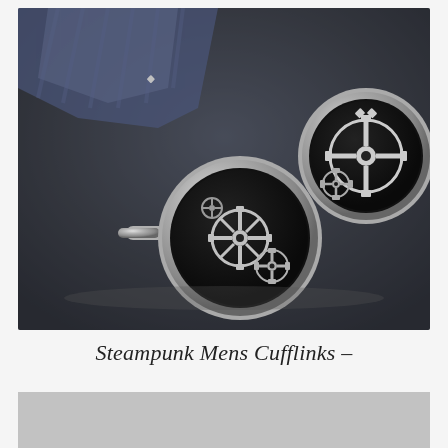[Figure (photo): Two steampunk-style round cufflinks featuring gear/clockwork mechanism designs on a black face with silver metallic rim and toggle bar, photographed on a dark surface with a blue striped shirt in the background.]
Steampunk Mens Cufflinks  –
[Figure (photo): Partial view of another product image, mostly dark/grey, cut off at bottom of page.]